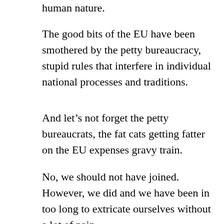human nature.
The good bits of the EU have been smothered by the petty bureaucracy, stupid rules that interfere in individual national processes and traditions.
And let’s not forget the petty bureaucrats, the fat cats getting fatter on the EU expenses gravy train.
No, we should not have joined. However, we did and we have been in too long to extricate ourselves without a lot of pain.
Britains exit may well be likened to a particularly messy divorce. With both parties